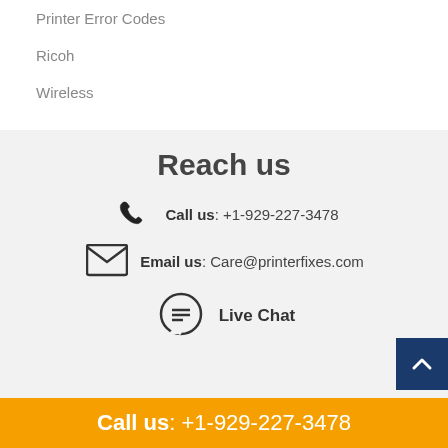Printer Error Codes
Ricoh
Wireless
Reach us
Call us: +1-929-227-3478
Email us: Care@printerfixes.com
Live Chat
Disclaimer : Content in this webpage is provided on an "as is"
Call us: +1-929-227-3478